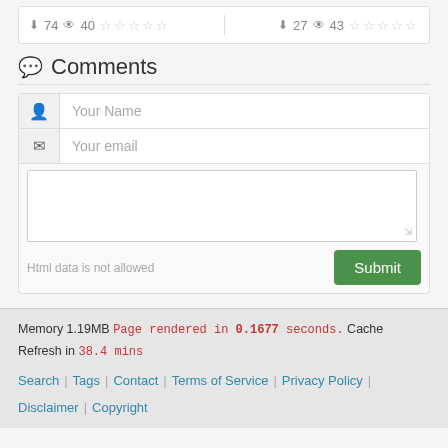74 downloads  40 views  ☆☆☆☆☆   |   27 downloads  43 views  ☆☆☆☆☆
💬 Comments
[Figure (screenshot): Comment submission form with Your Name, Your email fields and a text area, plus a Submit button and 'Html data is not allowed' notice]
Memory 1.19MB  Page rendered in 0.1677 seconds.  Cache Refresh in 38.4 mins
Search | Tags | Contact | Terms of Service | Privacy Policy | Disclaimer | Copyright